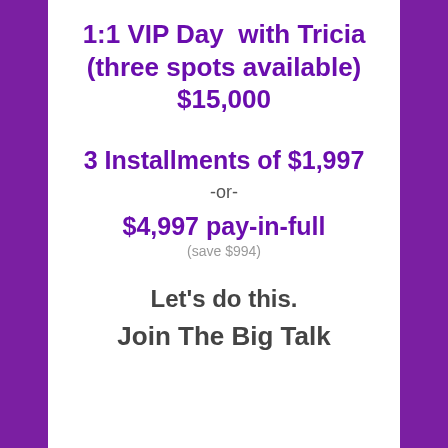1:1 VIP Day  with Tricia (three spots available) $15,000
3 Installments of $1,997
-or-
$4,997 pay-in-full
(save $994)
Let's do this.
Join The Big Talk